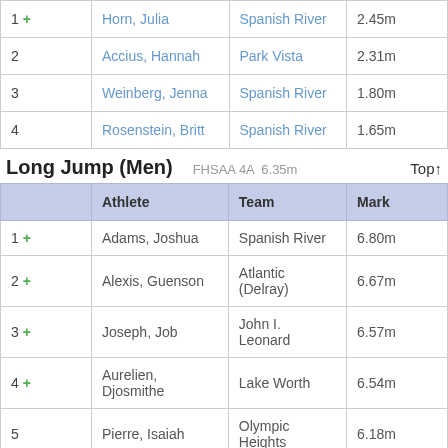|  | Athlete | Team | Mark |
| --- | --- | --- | --- |
| 1 + | Horn, Julia | Spanish River | 2.45m |
| 2 | Accius, Hannah | Park Vista | 2.31m |
| 3 | Weinberg, Jenna | Spanish River | 1.80m |
| 4 | Rosenstein, Britt | Spanish River | 1.65m |
Long Jump (Men)   FHSAA 4A  6.35m   Top↑
|  | Athlete | Team | Mark |
| --- | --- | --- | --- |
| 1 + | Adams, Joshua | Spanish River | 6.80m |
| 2 + | Alexis, Guenson | Atlantic (Delray) | 6.67m |
| 3 + | Joseph, Job | John I. Leonard | 6.57m |
| 4 + | Aurelien, Djosmithe | Lake Worth | 6.54m |
| 5 | Pierre, Isaiah | Olympic Heights | 6.18m |
| 6 | Penn, Amar | Olympic Heights | 6.15m |
| 7 | Karas, Jack | Spanish River | 6.12m |